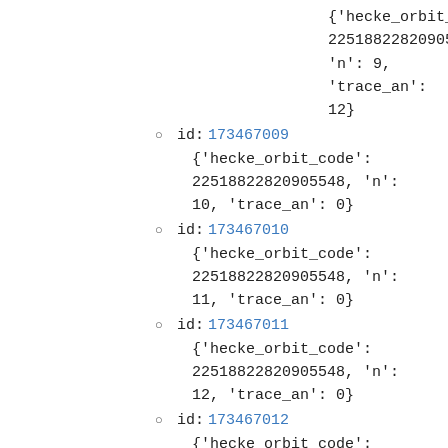{'hecke_orbit_code': 22518822820905548, 'n': 9, 'trace_an': 12}
id: 173467009 {'hecke_orbit_code': 22518822820905548, 'n': 10, 'trace_an': 0}
id: 173467010 {'hecke_orbit_code': 22518822820905548, 'n': 11, 'trace_an': 0}
id: 173467011 {'hecke_orbit_code': 22518822820905548, 'n': 12, 'trace_an': 0}
id: 173467012 {'hecke_orbit_code': 22518822820905548, 'n': 13, 'trace_an': 0}
id: 173467013